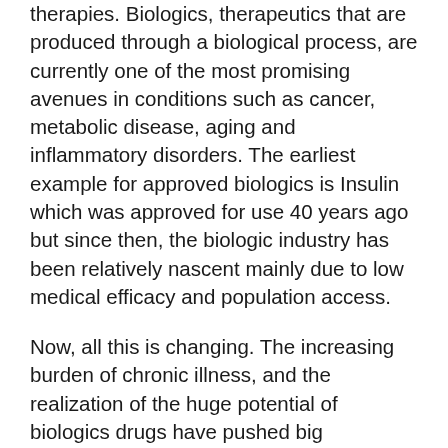therapies. Biologics, therapeutics that are produced through a biological process, are currently one of the most promising avenues in conditions such as cancer, metabolic disease, aging and inflammatory disorders. The earliest example for approved biologics is Insulin which was approved for use 40 years ago but since then, the biologic industry has been relatively nascent mainly due to low medical efficacy and population access.
Now, all this is changing. The increasing burden of chronic illness, and the realization of the huge potential of biologics drugs have pushed big pharmaceutical companies to invest in these products. North America currently dominates half the market which has increased by 70% in the last five years and should reach $421.8 billion by 2025. Biologics contribute to more than one-third of all the